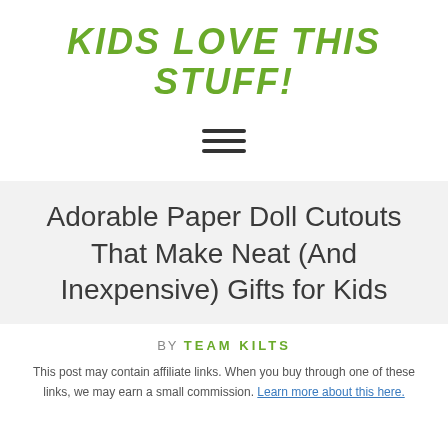KiDS loVe THiS STuFF!
[Figure (other): Hamburger menu icon with three horizontal lines]
Adorable Paper Doll Cutouts That Make Neat (And Inexpensive) Gifts for Kids
BY TEAM KILTS
This post may contain affiliate links. When you buy through one of these links, we may earn a small commission. Learn more about this here.